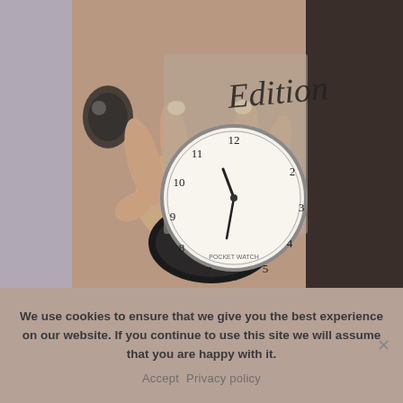[Figure (photo): A person holding an open pocket watch in their hand. The watch face shows numbers 5-12 and hands. There is a semi-transparent overlay box with the word 'Edition' written in cursive script. The background includes dark hair on the right side.]
We use cookies to ensure that we give you the best experience on our website. If you continue to use this site we will assume that you are happy with it.
Accept  Privacy policy